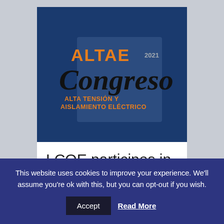[Figure (logo): ALTAE Congreso 2021 logo on dark blue background. Text reads 'ALTAE 2021 Congreso ALTA TENSIÓN Y AISLAMIENTO ELÉCTRICO' in orange and black with script lettering.]
LCOE participes in
This website uses cookies to improve your experience. We'll assume you're ok with this, but you can opt-out if you wish.